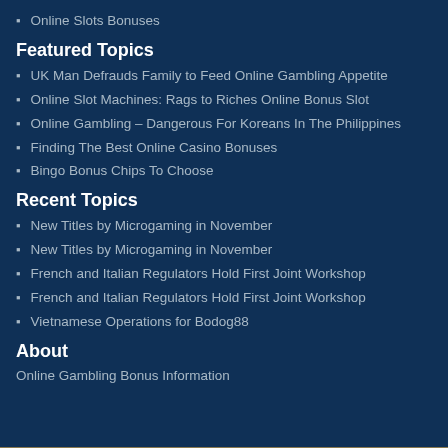Online Slots Bonuses
Featured Topics
UK Man Defrauds Family to Feed Online Gambling Appetite
Online Slot Machines: Rags to Riches Online Bonus Slot
Online Gambling – Dangerous For Koreans In The Philippines
Finding The Best Online Casino Bonuses
Bingo Bonus Chips To Choose
Recent Topics
New Titles by Microgaming in November
New Titles by Microgaming in November
French and Italian Regulators Hold First Joint Workshop
French and Italian Regulators Hold First Joint Workshop
Vietnamese Operations for Bodog88
About
Online Gambling Bonus Information